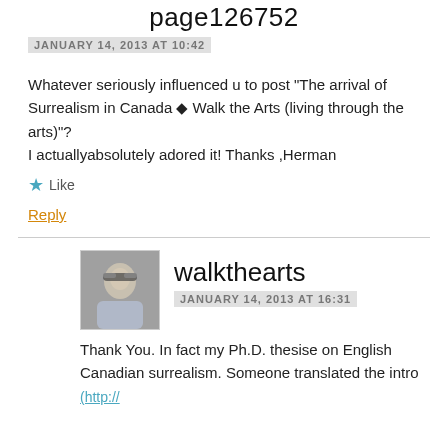page126752
JANUARY 14, 2013 AT 10:42
Whatever seriously influenced u to post “The arrival of Surrealism in Canada ◆ Walk the Arts (living through the arts)”?
I actuallyabsolutely adored it! Thanks ,Herman
★ Like
Reply
[Figure (photo): Avatar photo of walkthearts user, showing a person with glasses]
walkthearts
JANUARY 14, 2013 AT 16:31
Thank You. In fact my Ph.D. thesise on English Canadian surrealism. Someone translated the intro (http://...